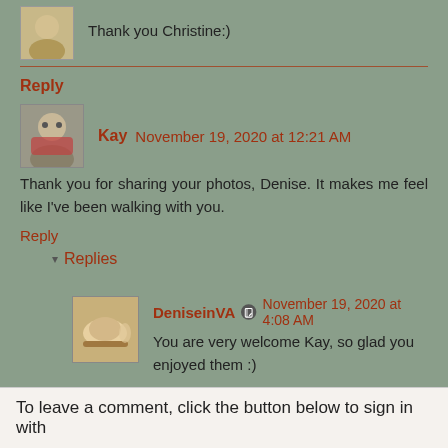Thank you Christine:)
Reply
Kay November 19, 2020 at 12:21 AM
Thank you for sharing your photos, Denise. It makes me feel like I've been walking with you.
Reply
Replies
DeniseinVA November 19, 2020 at 4:08 AM
You are very welcome Kay, so glad you enjoyed them :)
Reply
To leave a comment, click the button below to sign in with